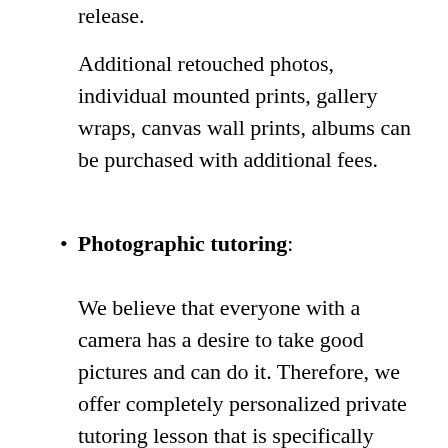release.
Additional retouched photos, individual mounted prints, gallery wraps, canvas wall prints, albums can be purchased with additional fees.
Photographic tutoring:
We believe that everyone with a camera has a desire to take good pictures and can do it. Therefore, we offer completely personalized private tutoring lesson that is specifically designed for the Client to improve his/her photographic skills. The lesson covers basics, useful tips, and advanced lessons about digital photo post-processing. A typical lesson